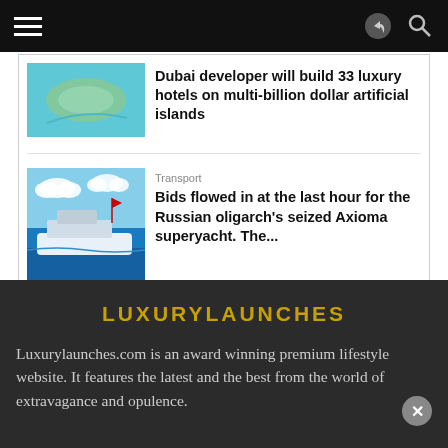Navigation bar with hamburger menu, share icon, and search icon
Dubai developer will build 33 luxury hotels on multi-billion dollar artificial islands
Transport
Bids flowed in at the last hour for the Russian oligarch's seized Axioma superyacht. The...
LUXURYLAUNCHES
Luxurylaunches.com is an award winning premium lifestyle website. It features the latest and the best from the world of extravagance and opulence.